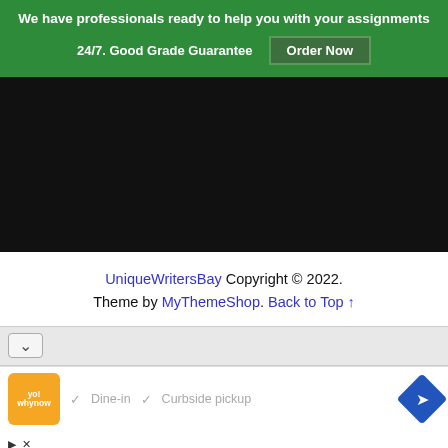We have professionals ready to help you with your assignments 24/7. Good Grade Guarantee Order Now
[Figure (screenshot): Black rectangular area representing a video or embedded media player]
UniqueWritersBay Copyright © 2022. Theme by MyThemeShop. Back to Top ↑
[Figure (screenshot): Browser UI bar with chevron/dropdown indicator]
[Figure (screenshot): Ad strip with restaurant logo, Dine-in and Curbside pickup checkmarks, and navigation icon]